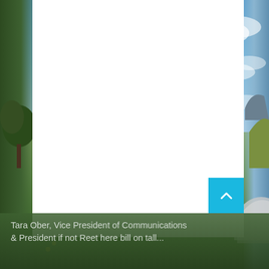[Figure (photo): Outdoor camping/nature scene with a tent, mountains, trees, and cloudy sky in the background. A white content card overlays the center of the image. A cyan scroll-to-top button with a chevron appears in the lower right of the white card.]
Tara Ober, Vice President of Communications & President if not Reet here bill on tall...